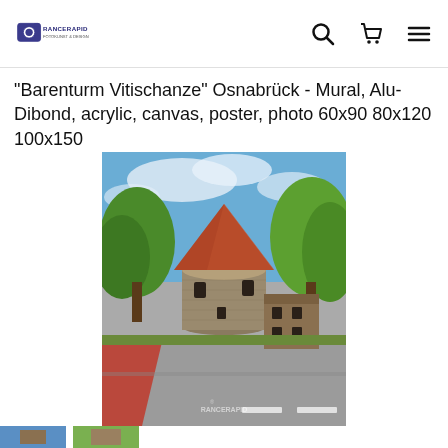RANCERAPID [logo] [search icon] [cart icon] [menu icon]
"Barenturm Vitischanze" Osnabrück - Mural, Alu-Dibond, acrylic, canvas, poster, photo 60x90 80x120 100x150
[Figure (photo): Photograph of the Bärenturm (Bear Tower) at Vitischanze in Osnabrück — a round medieval stone tower with a conical orange-red tiled roof, surrounded by green trees under a blue sky with white clouds. In the foreground is a road with red painted cycle lane markings and a building to the right. A RANCERAPID watermark is visible at the bottom of the image.]